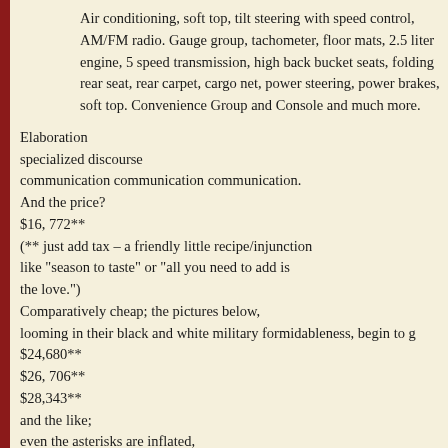Air conditioning, soft top, tilt steering with speed control, AM/FM radio. Gauge group, tachometer, floor mats, 2.5 liter engine, 5 speed transmission, high back bucket seats, folding rear seat, rear carpet, cargo net, power steering, power brakes, soft top. Convenience Group and Console and much more.
Elaboration
specialized discourse
communication communication communication.
And the price?
$16, 772**
(** just add tax – a friendly little recipe/injunction like "season to taste" or "all you need to add is the love.")
Comparatively cheap; the pictures below,
looming in their black and white military formidableness, begin to g
$24,680**
$26, 706**
$28,343**
and the like;
even the asterisks are inflated,
and the ones off the page – other makes